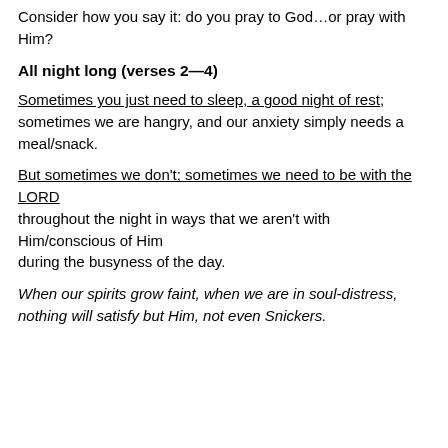Consider how you say it: do you pray to God…or pray with Him?
All night long (verses 2—4)
Sometimes you just need to sleep, a good night of rest; sometimes we are hangry, and our anxiety simply needs a meal/snack.
But sometimes we don't; sometimes we need to be with the LORD throughout the night in ways that we aren't with Him/conscious of Him during the busyness of the day.
When our spirits grow faint, when we are in soul-distress, nothing will satisfy but Him, not even Snickers.